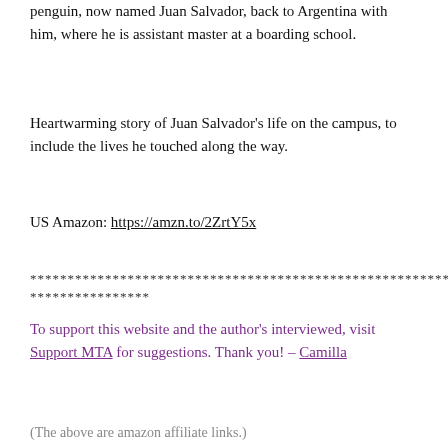penguin, now named Juan Salvador, back to Argentina with him, where he is assistant master at a boarding school.
Heartwarming story of Juan Salvador's life on the campus, to include the lives he touched along the way.
US Amazon: https://amzn.to/2ZrtY5x
************************************************************************
****************
To support this website and the author's interviewed, visit Support MTA for suggestions. Thank you! – Camilla
(The above are amazon affiliate links.)